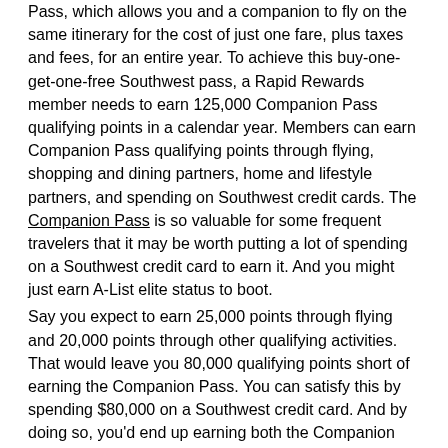Pass, which allows you and a companion to fly on the same itinerary for the cost of just one fare, plus taxes and fees, for an entire year. To achieve this buy-one-get-one-free Southwest pass, a Rapid Rewards member needs to earn 125,000 Companion Pass qualifying points in a calendar year. Members can earn Companion Pass qualifying points through flying, shopping and dining partners, home and lifestyle partners, and spending on Southwest credit cards. The Companion Pass is so valuable for some frequent travelers that it may be worth putting a lot of spending on a Southwest credit card to earn it. And you might just earn A-List elite status to boot.
Say you expect to earn 25,000 points through flying and 20,000 points through other qualifying activities. That would leave you 80,000 qualifying points short of earning the Companion Pass. You can satisfy this by spending $80,000 on a Southwest credit card. And by doing so, you'd end up earning both the Companion Pass and A-List status. The 12,000 bonus Tier Qualifying Points you'd earn from spending on the card would put you over the top.
Topping off your earnings from flying